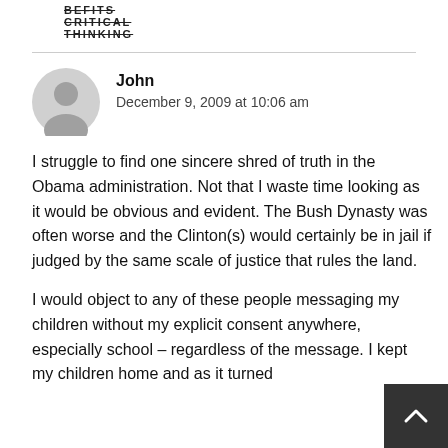BEFITS CRITICAL THINKING
John
December 9, 2009 at 10:06 am
I struggle to find one sincere shred of truth in the Obama administration. Not that I waste time looking as it would be obvious and evident. The Bush Dynasty was often worse and the Clinton(s) would certainly be in jail if judged by the same scale of justice that rules the land.
I would object to any of these people messaging my children without my explicit consent anywhere, especially school – regardless of the message. I kept my children home and as it turned